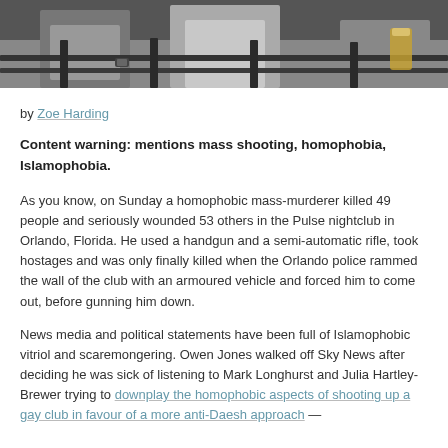[Figure (photo): Outdoor photograph showing people standing near metal railings, cropped to show torsos and hands; one person wearing a watch and holding something, another holding a drink]
by Zoe Harding
Content warning: mentions mass shooting, homophobia, Islamophobia.
As you know, on Sunday a homophobic mass-murderer killed 49 people and seriously wounded 53 others in the Pulse nightclub in Orlando, Florida. He used a handgun and a semi-automatic rifle, took hostages and was only finally killed when the Orlando police rammed the wall of the club with an armoured vehicle and forced him to come out, before gunning him down.
News media and political statements have been full of Islamophobic vitriol and scaremongering. Owen Jones walked off Sky News after deciding he was sick of listening to Mark Longhurst and Julia Hartley-Brewer trying to downplay the homophobic aspects of shooting up a gay club in favour of a more anti-Daesh approach —